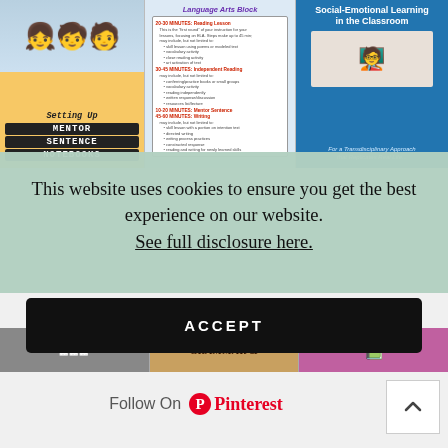[Figure (photo): Three book/resource covers in a row: (1) 'Setting Up Mentor Sentence Notebooks' with kids celebrating, (2) a Language Arts block schedule clipboard document, (3) 'Social-Emotional Learning in the Classroom' book cover with a teacher and student]
This website uses cookies to ensure you get the best experience on our website.
See full disclosure here.
ACCEPT
[Figure (photo): Three smaller resource thumbnail images in a row at the bottom of the page]
Follow On Pinterest